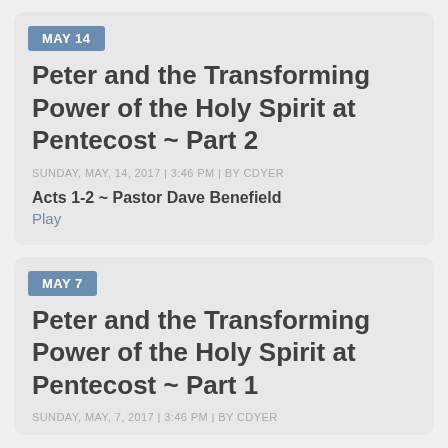MAY 14
Peter and the Transforming Power of the Holy Spirit at Pentecost ~ Part 2
SUNDAY, MAY, 14, 2017 | 3:46 PM | BY CDYER
Acts 1-2 ~ Pastor Dave Benefield
Play
MAY 7
Peter and the Transforming Power of the Holy Spirit at Pentecost ~ Part 1
SUNDAY, MAY, 7, 2017 | 3:46 PM | BY CDYER